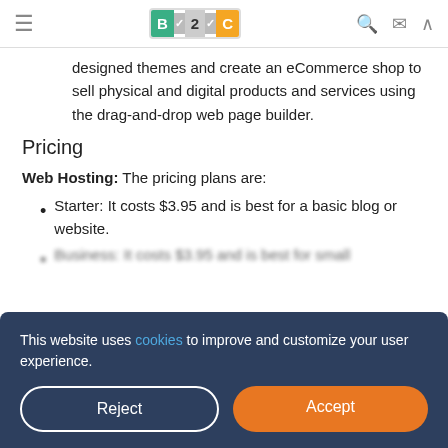B2C (logo nav bar)
designed themes and create an eCommerce shop to sell physical and digital products and services using the drag-and-drop web page builder.
Pricing
Web Hosting: The pricing plans are:
Starter: It costs $3.95 and is best for a basic blog or website.
Business: It costs $3.95 and is best for small
This website uses cookies to improve and customize your user experience.
Reject | Accept